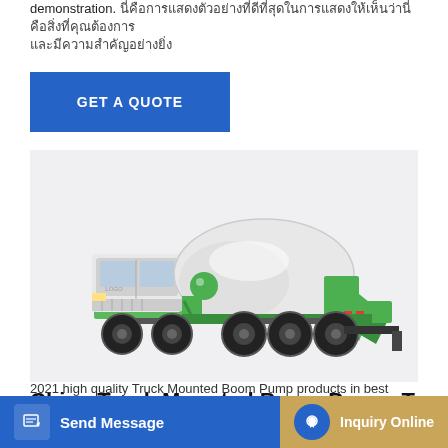demonstration. [Thai text block]
[Figure (other): Blue 'GET A QUOTE' button]
[Figure (photo): A green and white concrete mixer truck (Truck Mounted Boom Pump) on a light gray background]
China Truck Mounted Boom Pump, Truck
2021 high quality Truck Mounted Boom Pump products in best
[Figure (other): Blue 'Send Message' button with edit icon]
[Figure (other): Gold/tan 'Inquiry Online' button with blue circular headset icon]